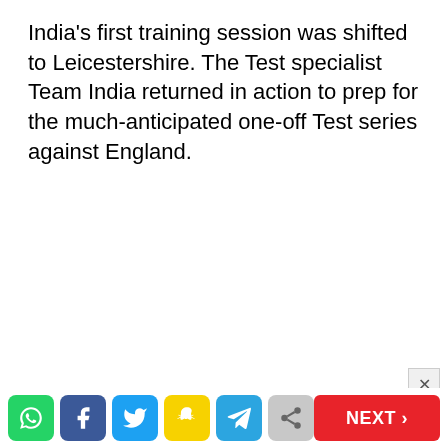India's first training session was shifted to Leicestershire. The Test specialist Team India returned in action to prep for the much-anticipated one-off Test series against England.
Social share bar with WhatsApp, Facebook, Twitter, Snapchat, Telegram, Share icons and NEXT button